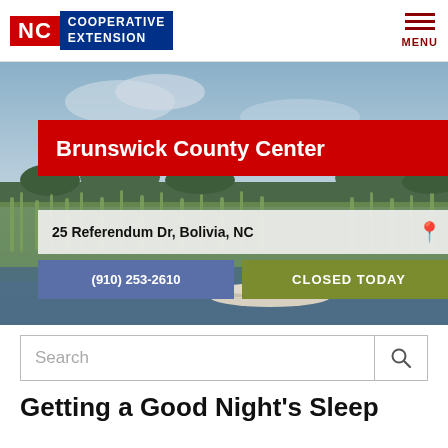NC Cooperative Extension — MENU
[Figure (photo): Aerial/ground photo of a coastal marsh wetland scene with water, tall green grasses, and a small boat in the foreground under a partly cloudy sky.]
Brunswick County Center
25 Referendum Dr, Bolivia, NC
(910) 253-2610
CLOSED TODAY
Search
Getting a Good Night's Sleep